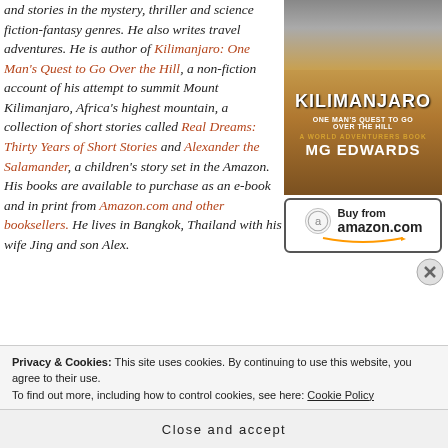and stories in the mystery, thriller and science fiction-fantasy genres. He also writes travel adventures. He is author of Kilimanjaro: One Man's Quest to Go Over the Hill, a non-fiction account of his attempt to summit Mount Kilimanjaro, Africa's highest mountain, a collection of short stories called Real Dreams: Thirty Years of Short Stories and Alexander the Salamander, a children's story set in the Amazon. His books are available to purchase as an e-book and in print from Amazon.com and other booksellers. He lives in Bangkok, Thailand with his wife Jing and son Alex.
[Figure (illustration): Book cover of Kilimanjaro: One Man's Quest to Go Over the Hill by MG Edwards, with a mountain background and gold/brown tones, followed by a Buy from Amazon.com button.]
Privacy & Cookies: This site uses cookies. By continuing to use this website, you agree to their use. To find out more, including how to control cookies, see here: Cookie Policy
Close and accept